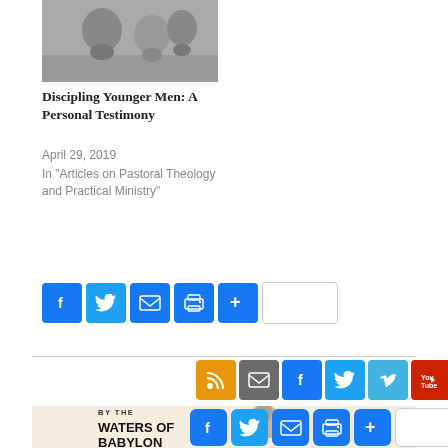[Figure (photo): Grayscale illustration of figures, used as article thumbnail]
Discipling Younger Men: A Personal Testimony
April 29, 2019
In "Articles on Pastoral Theology and Practical Ministry"
[Figure (infographic): Social sharing buttons: Facebook, Twitter, Email, Print, Plus, blank]
[Figure (infographic): Social media icons: RSS, Email, Facebook, Twitter, Vimeo, YouTube]
[Figure (infographic): Book/article banner: BY THE WATERS OF BABYLON with author photo and social sharing buttons]